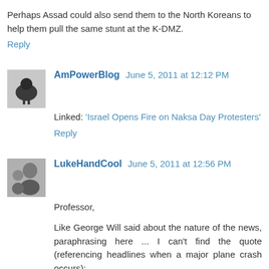Perhaps Assad could also send them to the North Koreans to help them pull the same stunt at the K-DMZ.
Reply
AmPowerBlog  June 5, 2011 at 12:12 PM
Linked: 'Israel Opens Fire on Naksa Day Protesters'
Reply
LukeHandCool  June 5, 2011 at 12:56 PM
Professor,
Like George Will said about the nature of the news, paraphrasing here ... I can't find the quote (referencing headlines when a major plane crash occurs):
"Of course, the media doesn't report daily the amazing statistic that 10,000 commercial flights land safely each and every day."